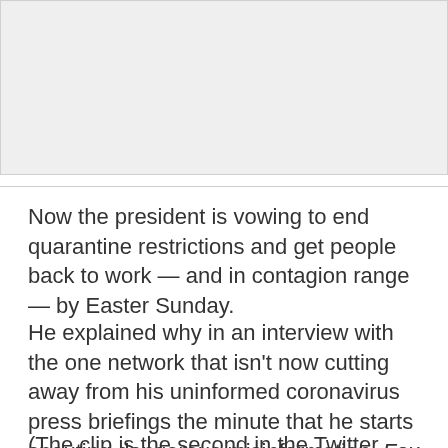[Figure (other): Gray image placeholder area at the top of the page]
Now the president is vowing to end quarantine restrictions and get people back to work — and in contagion range — by Easter Sunday.
He explained why in an interview with the one network that isn't now cutting away from his uninformed coronavirus press briefings the minute that he starts spouting dangerous misinformation, Fox News.
(The clip is the second in the Twitter thread